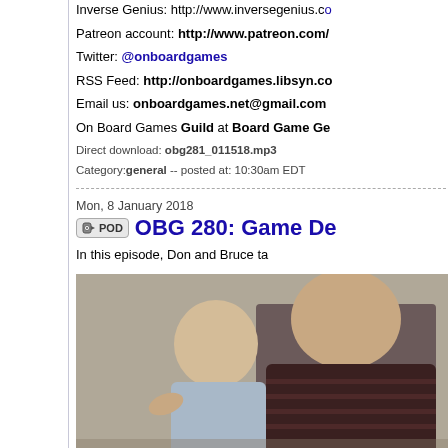Inverse Genius: http://www.inversegenius.co
Patreon account: http://www.patreon.com/
Twitter: @onboardgames
RSS Feed: http://onboardgames.libsyn.co
Email us: onboardgames.net@gmail.com
On Board Games Guild at Board Game Ge
Direct download: obg281_011518.mp3
Category: general -- posted at: 10:30am EDT
Mon, 8 January 2018
OBG 280: Game De
In this episode, Don and Bruce ta
[Figure (photo): Photo of an adult man holding a young toddler/baby]
(34:04) In the second segment, the trio talk a
Inverse Genius: http://www.inversegenius.co